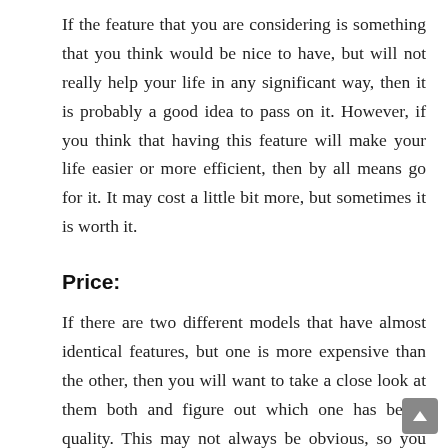If the feature that you are considering is something that you think would be nice to have, but will not really help your life in any significant way, then it is probably a good idea to pass on it. However, if you think that having this feature will make your life easier or more efficient, then by all means go for it. It may cost a little bit more, but sometimes it is worth it.
Price:
If there are two different models that have almost identical features, but one is more expensive than the other, then you will want to take a close look at them both and figure out which one has better quality. This may not always be obvious, so you will need to make your best